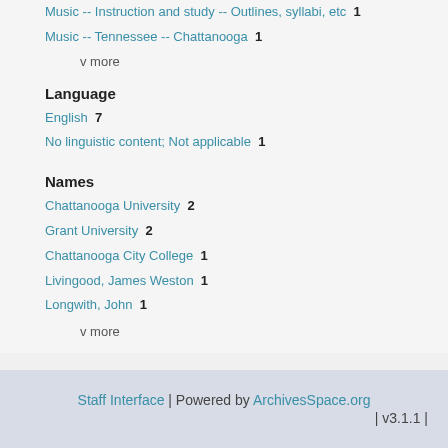Music -- Instruction and study -- Outlines, syllabi, etc  1
Music -- Tennessee -- Chattanooga  1
v more
Language
English  7
No linguistic content; Not applicable  1
Names
Chattanooga University  2
Grant University  2
Chattanooga City College  1
Livingood, James Weston  1
Longwith, John  1
v more
Staff Interface | Powered by ArchivesSpace.org | v3.1.1 |